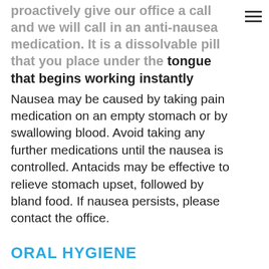proactively give our office a call and we will call in an anti-nausea medication. It is a dissolvable pill that you place under the tongue that begins working instantly
Nausea may be caused by taking pain medication on an empty stomach or by swallowing blood. Avoid taking any further medications until the nausea is controlled. Antacids may be effective to relieve stomach upset, followed by bland food. If nausea persists, please contact the office.
ORAL HYGIENE
You can brush the night of surgery, but avoid vigorous rinsing or spitting. Use the soft brush provided by the office for 2 weeks around the surgical sites. You may use your regular toothbrush for all other